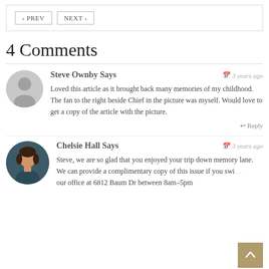PREV  NEXT
4 Comments
Steve Ownby Says  3 years ago
Loved this article as it brought back many memories of my childhood. The fan to the right beside Chief in the picture was myself. Would love to get a copy of the article with the picture.
 Reply
Chelsie Hall Says  3 years ago
Steve, we are so glad that you enjoyed your trip down memory lane. We can provide a complimentary copy of this issue if you swing our office at 6812 Baum Dr between 8am–5pm